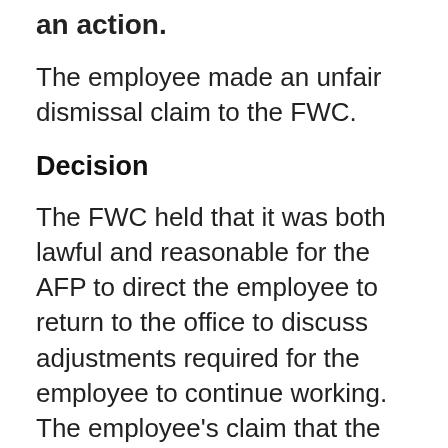an action.
The employee made an unfair dismissal claim to the FWC.
Decision
The FWC held that it was both lawful and reasonable for the AFP to direct the employee to return to the office to discuss adjustments required for the employee to continue working. The employee's claim that the direction was unlawful or unreasonable was rejected by the FWC.
The FWC also found that the employee's refusal to provide more up to date medical evidence was unreasonable.